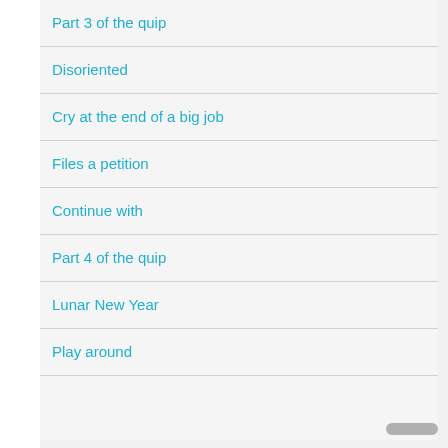Part 3 of the quip
Disoriented
Cry at the end of a big job
Files a petition
Continue with
Part 4 of the quip
Lunar New Year
Play around